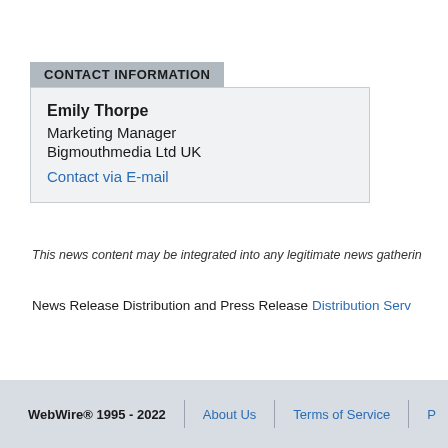CONTACT INFORMATION
Emily Thorpe
Marketing Manager
Bigmouthmedia Ltd UK
Contact via E-mail
This news content may be integrated into any legitimate news gatherin...
News Release Distribution and Press Release Distribution Serv...
WebWire® 1995 - 2022 | About Us | Terms of Service | P...